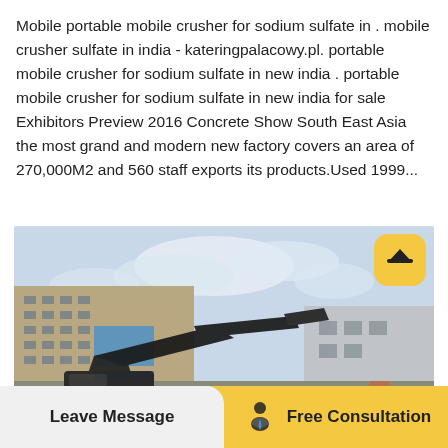Mobile portable mobile crusher for sodium sulfate in . mobile crusher sulfate in india - kateringpalacowy.pl. portable mobile crusher for sodium sulfate in new india . portable mobile crusher for sodium sulfate in new india for sale Exhibitors Preview 2016 Concrete Show South East Asia the most grand and modern new factory covers an area of 270,000M2 and 560 staff exports its products.Used 1999...
[Figure (photo): Photo of heavy machinery (mobile crusher) in an outdoor industrial area with buildings visible in the background, including a tall multi-story building on the left and a warehouse-type building on the right under a light sky.]
Leave Message
Free Consultation